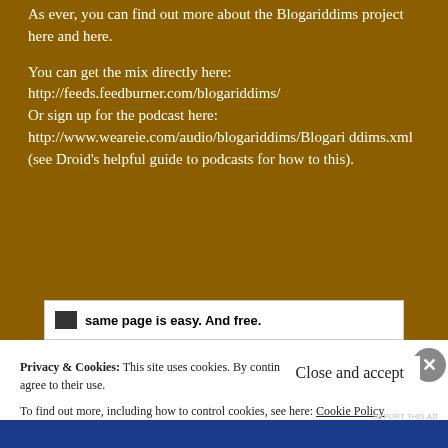As ever, you can find out more about the Blogariddims project here and here.
You can get the mix directly here: http://feeds.feedburner.com/blogariddims/
Or sign up for the podcast here: http://www.weareie.com/audio/blogariddims/Blogariddims.xml (see Droid's helpful guide to podcasts for how to this).
[Figure (other): Advertisement banner with text 'same page is easy. And free.']
Privacy & Cookies: This site uses cookies. By continuing to use this website, you agree to their use.
To find out more, including how to control cookies, see here: Cookie Policy
Close and accept